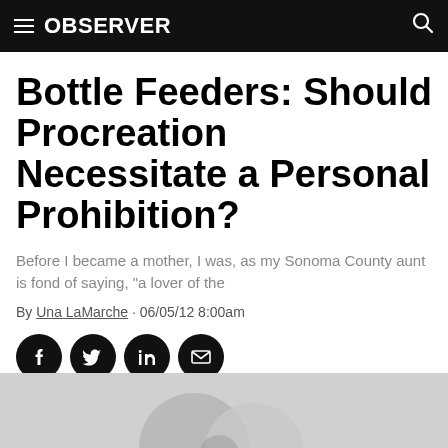OBSERVER
Bottle Feeders: Should Procreation Necessitate a Personal Prohibition?
Before I became a mother, I was, as my Sonoma County aunt is fond of saying, "a lover of the
By Una LaMarche · 06/05/12 8:00am
[Figure (other): Social sharing icons: Facebook, Twitter, LinkedIn, Email]
[Figure (photo): Partial image of bottles at bottom of page]